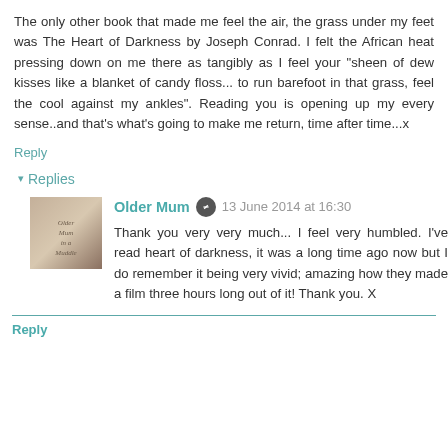The only other book that made me feel the air, the grass under my feet was The Heart of Darkness by Joseph Conrad. I felt the African heat pressing down on me there as tangibly as I feel your "sheen of dew kisses like a blanket of candy floss... to run barefoot in that grass, feel the cool against my ankles". Reading you is opening up my every sense..and that's what's going to make me return, time after time...x
Reply
▾ Replies
Older Mum · 13 June 2014 at 16:30
Thank you very very much... I feel very humbled. I've read heart of darkness, it was a long time ago now but I do remember it being very vivid; amazing how they made a film three hours long out of it! Thank you. X
Reply